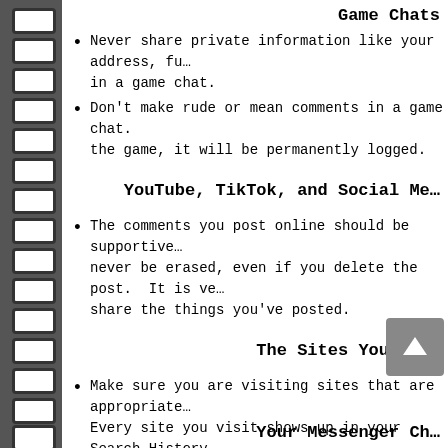Game Chats
Never share private information like your address, fu... in a game chat.
Don't make rude or mean comments in a game chat. the game, it will be permanently logged.
YouTube, TikTok, and Social Me...
The comments you post online should be supportive... never be erased, even if you delete the post. It is ve... share the things you've posted.
The Sites You Vis...
Make sure you are visiting sites that are appropriate... Every site you visit shows up in your Search History... school administrators.
Your Messenger Ch...